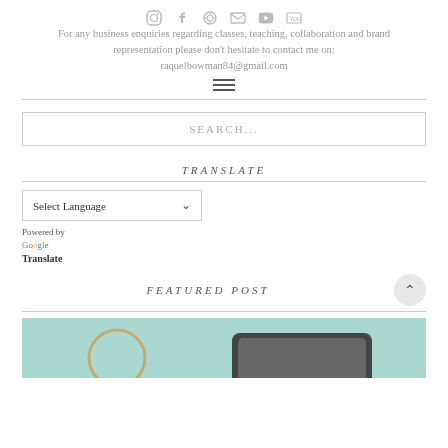[Figure (other): Social media icons row: Instagram, Facebook, Pinterest, Email/envelope, Twitter, YouTube]
For any business enquiries regarding classes, teaching, collaboration and brand representation please don't hesitate to contact me on: raquelbowman84@gmail.com
[Figure (other): Hamburger menu icon (three horizontal lines)]
SEARCH...
TRANSLATE
Select Language
Powered by Google Translate
FEATURED POST
[Figure (photo): Featured post preview image with teal/mint background showing what appears to be craft/jewelry items]